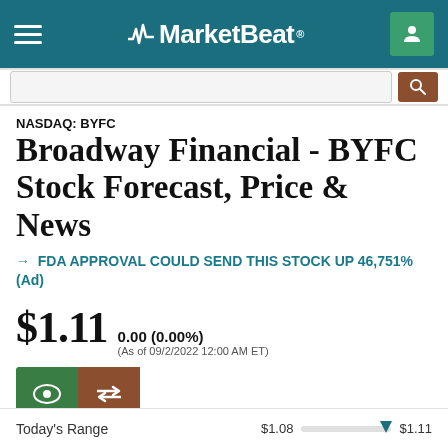MarketBeat
Broadway Financial - BYFC Stock Forecast, Price & News
NASDAQ: BYFC
→ FDA APPROVAL COULD SEND THIS STOCK UP 46,751% (Ad)
$1.11  0.00 (0.00%) (As of 09/2/2022 12:00 AM ET)
SHARE
Today's Range  $1.08  $1.11